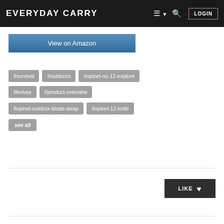EVERYDAY CARRY  ≡ ▾  🔍  LOGIN
View on Amazon
#survival
#outdoors
#opinel-no-12-explore
#knives
#product-overview
#opinel-outdoor-blade-swap
#opinel-12-knife
see all
LIKE ♥